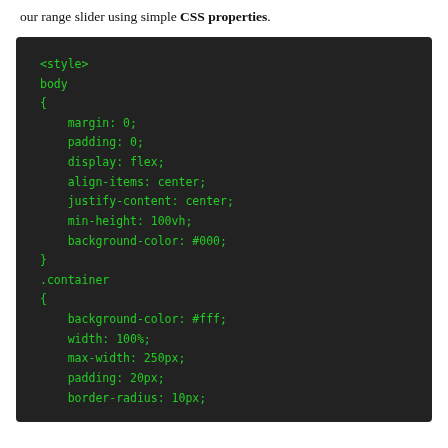our range slider using simple CSS properties.
<style>
body
{
    margin: 0;
    padding: 0;
    display: flex;
    align-items: center;
    justify-content: center;
    min-height: 100vh;
    background-color: #000;
}
.container
{
    background-color: #fff;
    width: 100%;
    max-width: 250px;
    padding: 20px;
    border-radius: 10px;